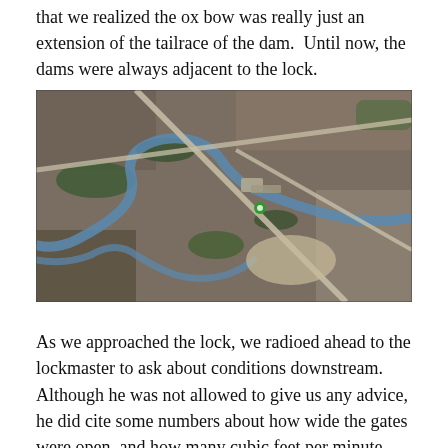that we realized the ox bow was really just an extension of the tailrace of the dam.  Until now, the dams were always adjacent to the lock.
[Figure (photo): Aerial satellite view of a river with an ox bow curve, lock and dam infrastructure, roads/bridges crossing the landscape, and surrounding rural terrain.]
As we approached the lock, we radioed ahead to the lockmaster to ask about conditions downstream.  Although he was not allowed to give us any advice, he did cite some numbers about how wide the gates were open, and how many cubic feet per minute